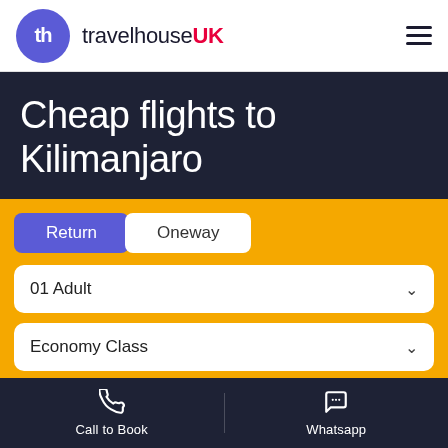[Figure (logo): travelhouse UK logo with purple circle containing 'th' and brand name with 'UK' in red]
Cheap flights to Kilimanjaro
Return | Oneway
01 Adult
Economy Class
Leaving from
Call to Book    Whatsapp